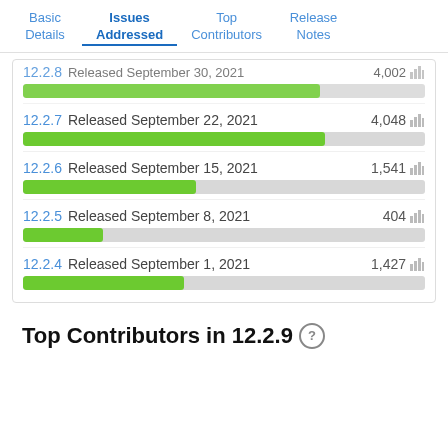Basic Details | Issues Addressed | Top Contributors | Release Notes
[Figure (bar-chart): Issues Addressed - Release versions]
Top Contributors in 12.2.9